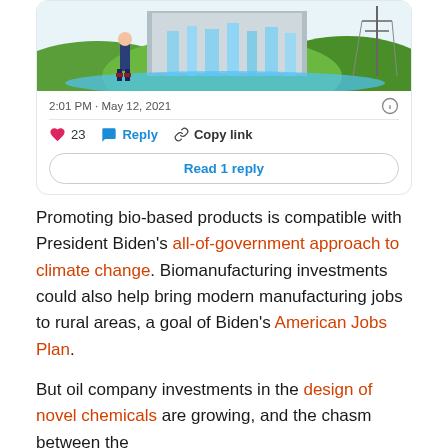[Figure (screenshot): Tweet card screenshot showing a hydroelectric dam illustration, timestamp '2:01 PM · May 12, 2021', like count of 23, Reply, Copy link actions, and a 'Read 1 reply' button]
Promoting bio-based products is compatible with President Biden's all-of-government approach to climate change. Biomanufacturing investments could also help bring modern manufacturing jobs to rural areas, a goal of Biden's American Jobs Plan.
But oil company investments in the design of novel chemicals are growing, and the chasm between the